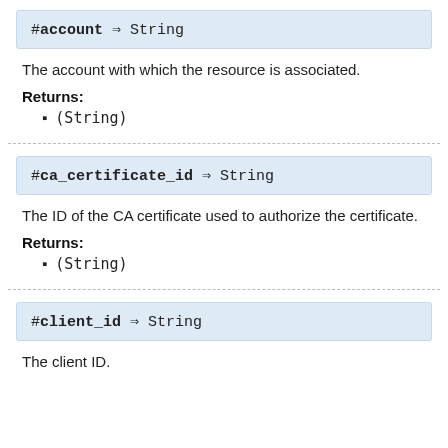#account ⇒ String
The account with which the resource is associated.
Returns:
(String)
#ca_certificate_id ⇒ String
The ID of the CA certificate used to authorize the certificate.
Returns:
(String)
#client_id ⇒ String
The client ID.